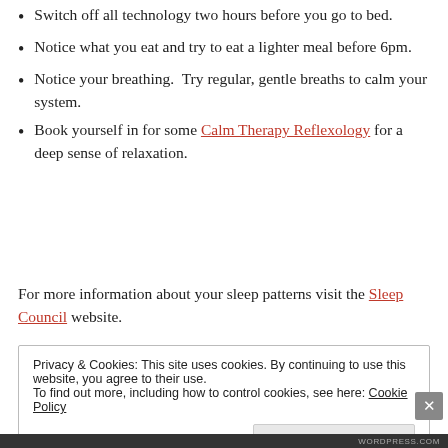Switch off all technology two hours before you go to bed.
Notice what you eat and try to eat a lighter meal before 6pm.
Notice your breathing.  Try regular, gentle breaths to calm your system.
Book yourself in for some Calm Therapy Reflexology for a deep sense of relaxation.
For more information about your sleep patterns visit the Sleep Council website.
Privacy & Cookies: This site uses cookies. By continuing to use this website, you agree to their use. To find out more, including how to control cookies, see here: Cookie Policy
Close and accept
WORDPRESS.COM